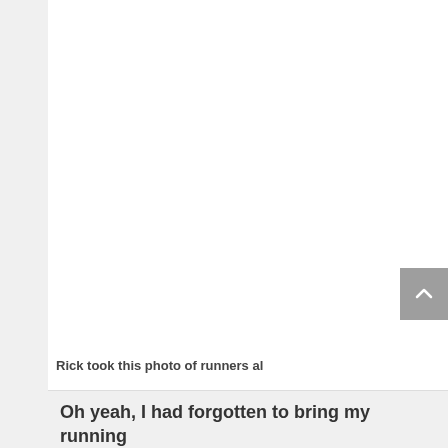[Figure (photo): Large white area representing an image of runners, mostly blank/white in this cropped view]
Rick took this photo of runners al
Oh yeah, I had forgotten to bring my running